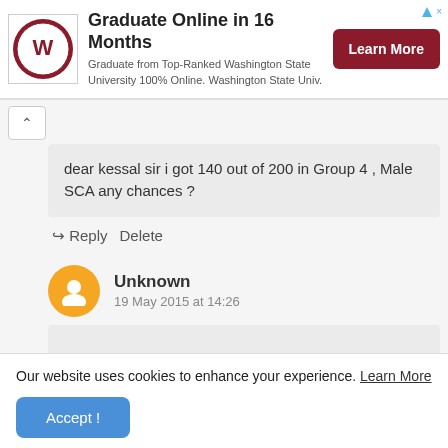[Figure (illustration): Advertisement banner for Washington State University online program with logo, text, and Learn More button]
dear kessal sir i got 140 out of 200 in Group 4 , Male SCA any chances ?
Reply  Delete
Unknown
19 May 2015 at 14:26
Our website uses cookies to enhance your experience. Learn More
Accept !